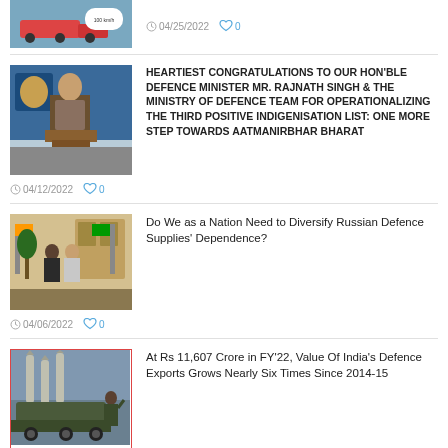[Figure (photo): Partial thumbnail of a train/railway infographic visible at top of page]
04/25/2022  0
[Figure (photo): Photo of Rajnath Singh speaking at a podium with a blue lion logo backdrop]
HEARTIEST CONGRATULATIONS TO OUR HON'BLE DEFENCE MINISTER MR. RAJNATH SINGH & THE MINISTRY OF DEFENCE TEAM FOR OPERATIONALIZING THE THIRD POSITIVE INDIGENISATION LIST: ONE MORE STEP TOWARDS AATMANIRBHAR BHARAT
04/12/2022  0
[Figure (photo): Photo of two leaders shaking hands in a formal room with flags]
Do We as a Nation Need to Diversify Russian Defence Supplies' Dependence?
04/06/2022  0
[Figure (photo): Photo of missiles/rockets on display with a soldier saluting]
At Rs 11,607 Crore in FY'22, Value Of India's Defence Exports Grows Nearly Six Times Since 2014-15
03/30/2022  0